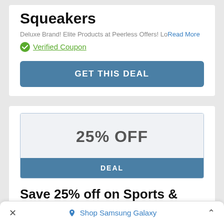Squeakers
Deluxe Brand! Elite Products at Peerless Offers! Lo Read More
✔ Verified Coupon
GET THIS DEAL
[Figure (other): Coupon box showing 25% OFF with a DEAL label below]
Save 25% off on Sports & Outdoors + Free Shipping
Electrifying Sale downpours on you at Guard Llama Read More
Shop Samsung Galaxy